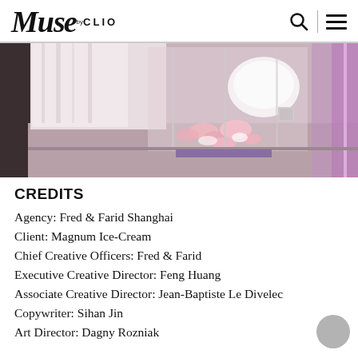Muse by CLIO
[Figure (photo): Close-up photo of a candy claw machine or ice cream display with pink/white items inside a glass enclosure, illuminated by pink/purple lighting]
CREDITS
Agency: Fred & Farid Shanghai
Client: Magnum Ice-Cream
Chief Creative Officers: Fred & Farid
Executive Creative Director: Feng Huang
Associate Creative Director: Jean-Baptiste Le Divelec
Copywriter: Sihan Jin
Art Director: Dagny Rozniak